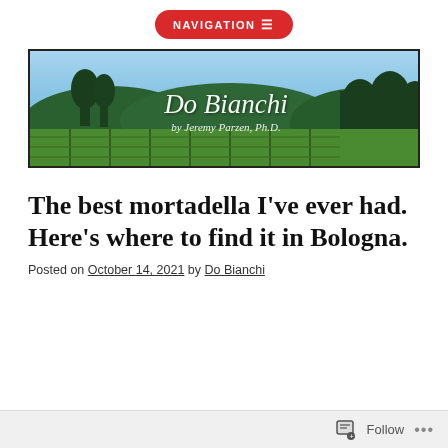NAVIGATION ≡
[Figure (photo): Blog banner image showing vineyard rows with trees and blue sky, overlaid with cursive text 'Do Bianchi by Jeremy Parzen, Ph.D.']
The best mortadella I've ever had. Here's where to find it in Bologna.
Posted on October 14, 2021 by Do Bianchi
Follow ...